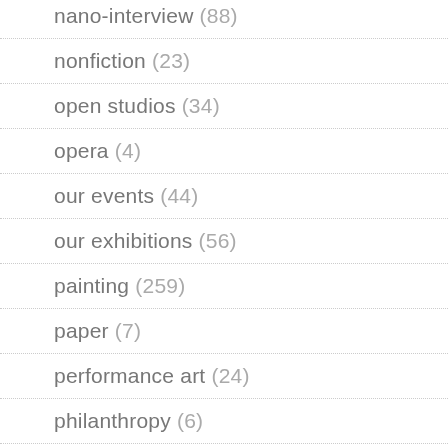nano-interview (88)
nonfiction (23)
open studios (34)
opera (4)
our events (44)
our exhibitions (56)
painting (259)
paper (7)
performance art (24)
philanthropy (6)
photography (211)
playwriting (19)